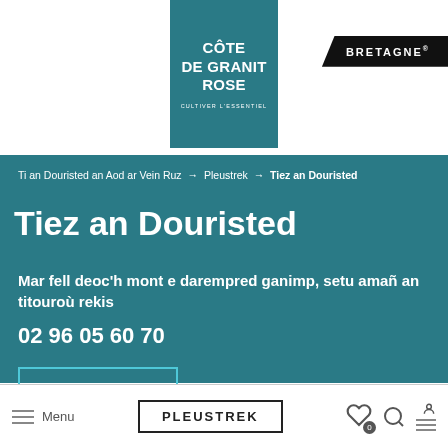[Figure (logo): Côte de Granit Rose logo — teal square with white text: CÔTE DE GRANIT ROSE, CULTIVER L'ESSENTIEL]
[Figure (logo): Bretagne regional logo — dark banner with white text BRETAGNE]
Ti an Douristed an Aod ar Vein Ruz → Pleustrek → Tiez an Douristed
Tiez an Douristed
Mar fell deoc'h mont e darempred ganimp, setu amañ an titouroù rekis
02 96 05 60 70
DAREMPRED
[Figure (infographic): Social media icons: Facebook, Twitter, LinkedIn, Pinterest, Email]
Menu  PLEUSTREK  [heart icon 0] [search icon] [menu icon]